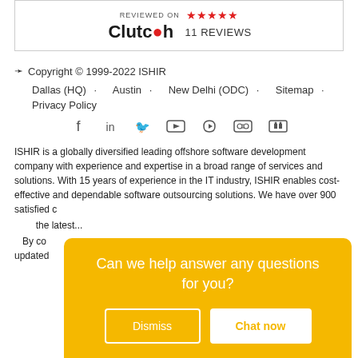[Figure (logo): Clutch review badge with 5 red stars and '11 REVIEWS' text]
Copyright © 1999-2022 ISHIR
Dallas (HQ) · Austin · New Delhi (ODC) · Sitemap ·
Privacy Policy
[Figure (infographic): Social media icons: Facebook, LinkedIn, Twitter, YouTube, RSS, Flickr, SlideShare]
ISHIR is a globally diversified leading offshore software development company with experience and expertise in a broad range of services and solutions. With 15 years of experience in the IT industry, ISHIR enables cost-effective and dependable software outsourcing solutions. We have over 900 satisfied clients...
By co... updated... e
[Figure (other): Chat overlay modal with yellow background asking 'Can we help answer any questions for you?' with Dismiss and Chat now buttons]